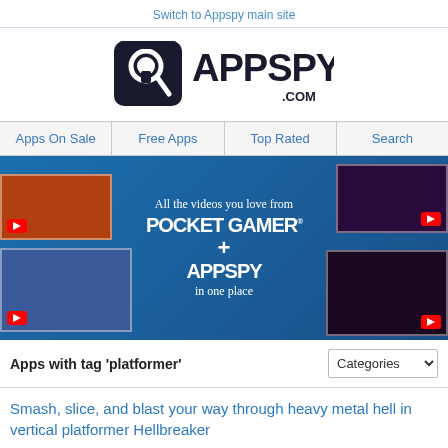Switch to Appspy main site
[Figure (logo): AppSpy.com logo with detective magnifying glass icon and bold APPSPY text]
Apps On Sale | Free Apps | Top Rated | Search
[Figure (infographic): Banner advertisement: All the videos you love from Pocket Gamer + AppSpy in one place, blue background with game video thumbnails]
Apps with tag 'platformer'
Smash, slice, and blast your way through heavy metal hell in vertical platformer Hellbreaker